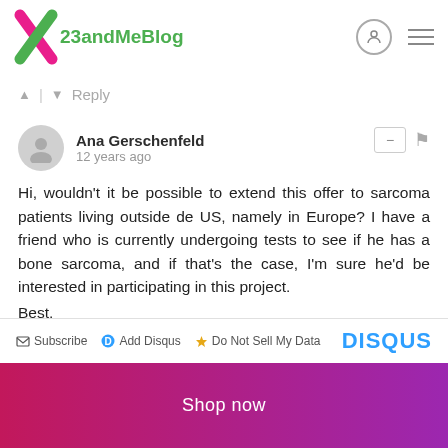[Figure (logo): 23andMe Blog logo with X mark in pink and green colors, followed by '23andMeBlog' text in green]
▲ | ▼ Reply
Ana Gerschenfeld
12 years ago

Hi, wouldn't it be possible to extend this offer to sarcoma patients living outside de US, namely in Europe? I have a friend who is currently undergoing tests to see if he has a bone sarcoma, and if that's the case, I'm sure he'd be interested in participating in this project.
Best,
Ana
▲ | ▼ Reply
Subscribe  Add Disqus  Do Not Sell My Data  DISQUS
Shop now